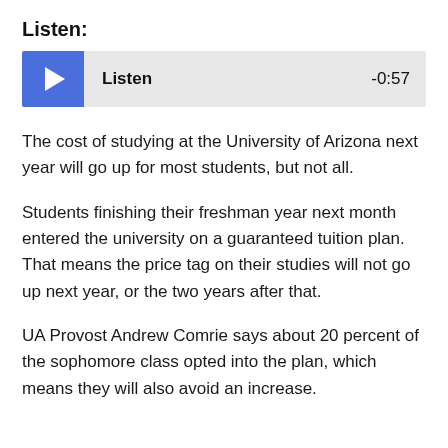Listen:
[Figure (other): Audio player widget with blue play button on left, 'Listen' label in center, and time display '-0:57' on right, on a light gray background.]
The cost of studying at the University of Arizona next year will go up for most students, but not all.
Students finishing their freshman year next month entered the university on a guaranteed tuition plan. That means the price tag on their studies will not go up next year, or the two years after that.
UA Provost Andrew Comrie says about 20 percent of the sophomore class opted into the plan, which means they will also avoid an increase.